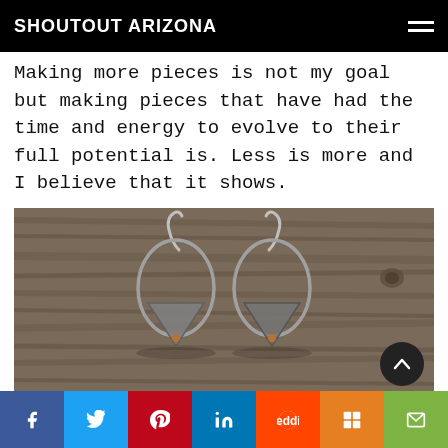SHOUTOUT ARIZONA
Making more pieces is not my goal but making pieces that have had the time and energy to evolve to their full potential is. Less is more and I believe that it shows.
[Figure (photo): Two silver drop earrings with hoop-style wires and textured triangular pendants with copper rivets, displayed on a weathered wood surface.]
Social share bar: Facebook, Twitter, Pinterest, LinkedIn, Reddit, Mix, Email